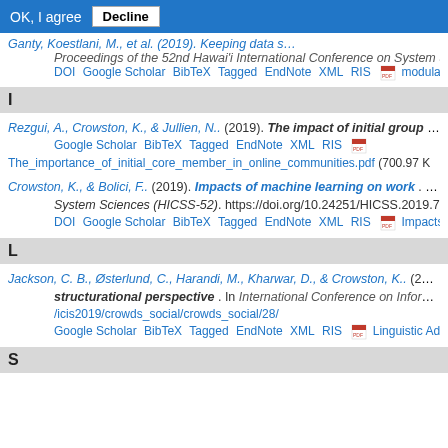OK, I agree  Decline
Ganty, Koestlani, M., et al. (2019). Proceedings of the 52nd Hawai'i International Conference on System Sciences DOI Google Scholar BibTeX Tagged EndNote XML RIS modularity-HI
I
Rezgui, A., Crowston, K., & Jullien, N.. (2019). The impact of initial group charact Google Scholar BibTeX Tagged EndNote XML RIS The_importance_of_initial_core_member_in_online_communities.pdf (700.97 K
Crowston, K., & Bolici, F.. (2019). Impacts of machine learning on work. In Proce System Sciences (HICSS-52). https://doi.org/10.24251/HICSS.2019.719 DOI Google Scholar BibTeX Tagged EndNote XML RIS Impacts_of_ma
L
Jackson, C. B., Østerlund, C., Harandi, M., Kharwar, D., & Crowston, K.. (2019). Lin structurational perspective. In International Conference on Information Sys /icis2019/crowds_social/crowds_social/28/ Google Scholar BibTeX Tagged EndNote XML RIS Linguistic Adoptior
S